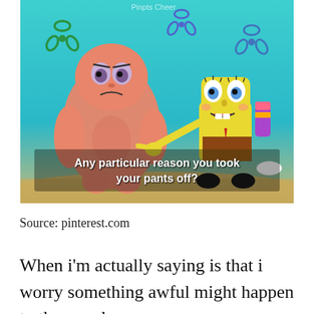[Figure (screenshot): SpongeBob SquarePants screenshot showing Patrick Star (pink starfish) standing on the left looking bored/confused, and SpongeBob (yellow sponge) on the right pointing at Patrick with an alarmed expression. Underwater background with teal/cyan color and green flower decorations. Subtitle text reads: 'Any particular reason you took your pants off?'. Watermark text at top reads 'Pinpts Cheer'.]
Source: pinterest.com
When i'm actually saying is that i worry something awful might happen to them and